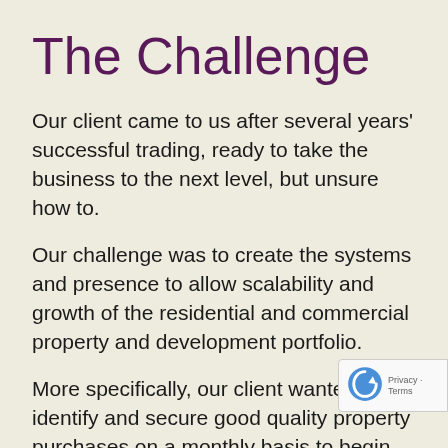The Challenge
Our client came to us after several years' successful trading, ready to take the business to the next level, but unsure how to.
Our challenge was to create the systems and presence to allow scalability and growth of the residential and commercial property and development portfolio.
More specifically, our client wanted to identify and secure good quality property purchases on a monthly basis to begin with, then on a weekly basis. They wanted to continuously accumulate stock to refurbish, and increase value and re… yield by financing and holding…